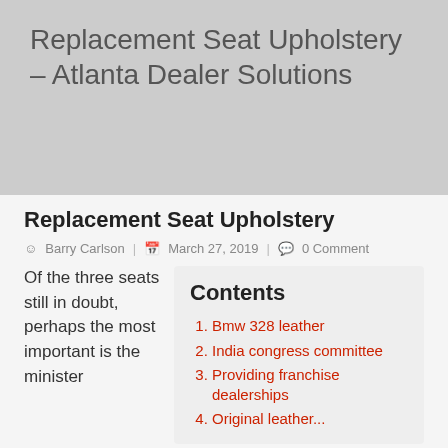Replacement Seat Upholstery - Atlanta Dealer Solutions
Replacement Seat Upholstery
Barry Carlson | March 27, 2019 | 0 Comment
Of the three seats still in doubt, perhaps the most important is the minister
Contents
Bmw 328 leather
India congress committee
Providing franchise dealerships
Original leather...